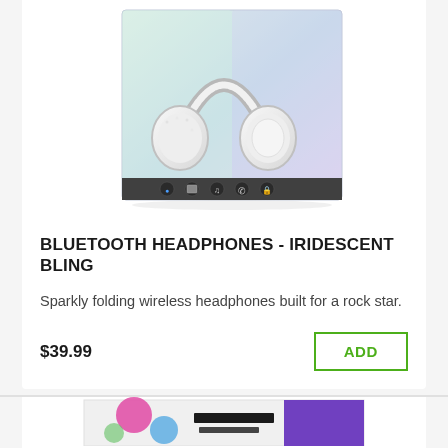[Figure (photo): Sparkly iridescent bling Bluetooth wireless headphones in retail packaging with feature icons on the box bottom]
BLUETOOTH HEADPHONES - IRIDESCENT BLING
Sparkly folding wireless headphones built for a rock star.
$39.99
[Figure (photo): Partial view of a second product - appears to be a box with colorful graphic design and purple stripe, partially cut off at the bottom of the page]